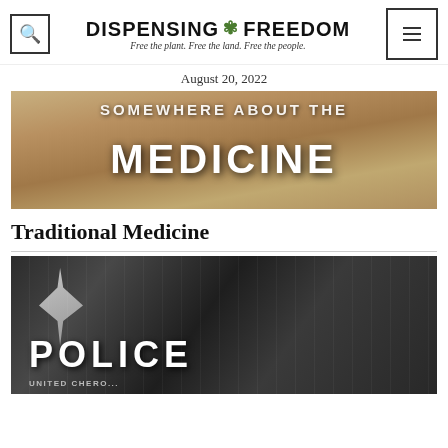DISPENSING 🌿 FREEDOM — Free the plant. Free the land. Free the people.
August 20, 2022
[Figure (photo): Image showing bold text reading 'MEDICINE' over an earthy/desert background with a figure in traditional clothing]
Traditional Medicine
[Figure (photo): Close-up photo of a police vehicle (United Cherokee) with decorative feather motif, showing POLICE lettering on the door]